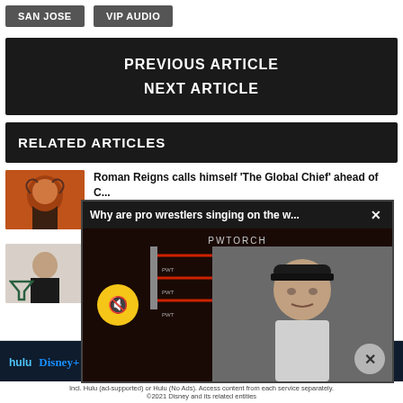SAN JOSE
VIP AUDIO
PREVIOUS ARTICLE
NEXT ARTICLE
RELATED ARTICLES
Roman Reigns calls himself 'The Global Chief' ahead of C... August 30...
[Figure (screenshot): Popup video overlay: 'Why are pro wrestlers singing on the w...' with PWTORCH branding, showing a man in a black cap against a wrestling ring background, mute button visible]
Wardlow s... was "ruine... August 30...
[Figure (screenshot): Disney Bundle advertisement banner with Hulu, Disney+, ESPN+ logos and 'GET THE DISNEY BUNDLE' CTA]